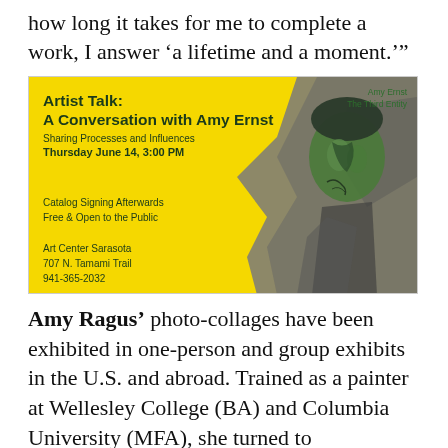how long it takes for me to complete a work, I answer ‘a lifetime and a moment.’”
[Figure (photo): Artist Talk flyer for A Conversation with Amy Ernst. Yellow background with a green and grey collage portrait of a figure. Text includes event details: Sharing Processes and Influences, Thursday June 14, 3:00 PM, Catalog Signing Afterwards, Free & Open to the Public, Art Center Sarasota, 707 N. Tamami Trail, 941-365-2032. Artwork label: Amy Ernst The Third Entity.]
Amy Ragus’ photo-collages have been exhibited in one-person and group exhibits in the U.S. and abroad. Trained as a painter at Wellesley College (BA) and Columbia University (MFA), she turned to photography in the 1980s. She describes herself as “a painter who